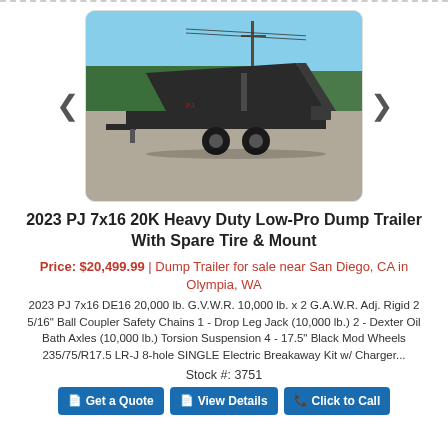[Figure (photo): Photo of a 2023 PJ 7x16 20K Heavy Duty Low-Pro Dump Trailer shown in a parking lot with the dump bed raised, black color, dual axles, blue sky and trees in background. Navigation arrows on left and right sides of the image.]
2023 PJ 7x16 20K Heavy Duty Low-Pro Dump Trailer With Spare Tire & Mount
Price: $20,499.99 | Dump Trailer for sale near San Diego, CA in Olympia, WA
2023 PJ 7x16 DE16 20,000 lb. G.V.W.R. 10,000 lb. x 2 G.A.W.R. Adj. Rigid 2 5/16" Ball Coupler Safety Chains 1 - Drop Leg Jack (10,000 lb.) 2 - Dexter Oil Bath Axles (10,000 lb.) Torsion Suspension 4 - 17.5" Black Mod Wheels 235/75/R17.5 LR-J 8-hole SINGLE Electric Breakaway Kit w/ Charger...
Stock #: 3751